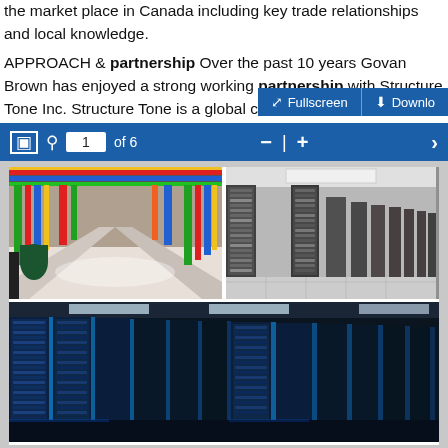the market place in Canada including key trade relationships and local knowledge.
APPROACH & partnership Over the past 10 years Govan Brown has enjoyed a strong working partnership with Structure Tone Inc. Structure Tone is a global construction
[Figure (screenshot): Document viewer toolbar with Fullscreen and Download buttons, page navigation showing 1 of 6, and three data center/server room images: one with colorful pipe infrastructure, one black-and-white server room, and one with blue server racks.]